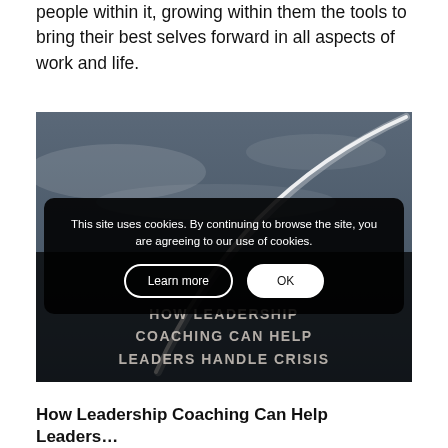people within it, growing within them the tools to bring their best selves forward in all aspects of work and life.
[Figure (photo): Airplane contrail arcing across a dark cloudy sky, with a dark overlay at the bottom containing text: HOW LEADERSHIP COACHING CAN HELP LEADERS HANDLE CRISIS]
This site uses cookies. By continuing to browse the site, you are agreeing to our use of cookies.
How Leadership Coaching Can Help Leaders...